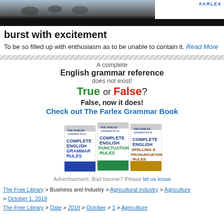[Figure (illustration): Top banner image with birds/animals silhouette and Farlex logo, dark background]
burst with excitement
To be so filled up with enthusiasm as to be unable to contain it. Read More
[Figure (infographic): Advertisement for The Farlex Grammar Book showing three book covers: Complete English Grammar Rules, Complete English Punctuation Rules, Complete English Spelling & Pronunciation Rules. Text: A complete / English grammar reference / does not exist! / True or False? / False, now it does! / Check out The Farlex Grammar Book]
Advertisement. Bad banner? Please let us know
The Free Library > Business and Industry > Agricultural industry > Agriculture > October 1, 2019
The Free Library > Date > 2019 > October > 1 > Agriculture